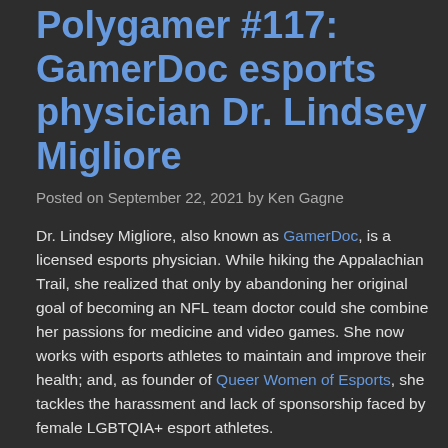Polygamer #117: GamerDoc esports physician Dr. Lindsey Migliore
Posted on September 22, 2021 by Ken Gagne
Dr. Lindsey Migliore, also known as GamerDoc, is a licensed esports physician. While hiking the Appalachian Trail, she realized that only by abandoning her original goal of becoming an NFL team doctor could she combine her passions for medicine and video games. She now works with esports athletes to maintain and improve their health; and, as founder of Queer Women of Esports, she tackles the harassment and lack of sponsorship faced by female LGBTQIA+ esport athletes.
In this podcast, Dr. Migliore and I discuss the injuries that esports athletes experience, and the preventive measures